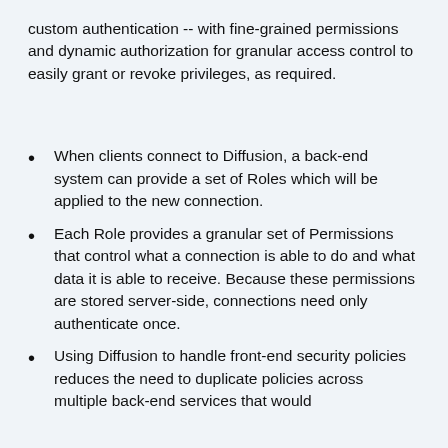custom authentication -- with fine-grained permissions and dynamic authorization for granular access control to easily grant or revoke privileges, as required.
When clients connect to Diffusion, a back-end system can provide a set of Roles which will be applied to the new connection.
Each Role provides a granular set of Permissions that control what a connection is able to do and what data it is able to receive. Because these permissions are stored server-side, connections need only authenticate once.
Using Diffusion to handle front-end security policies reduces the need to duplicate policies across multiple back-end services that would...